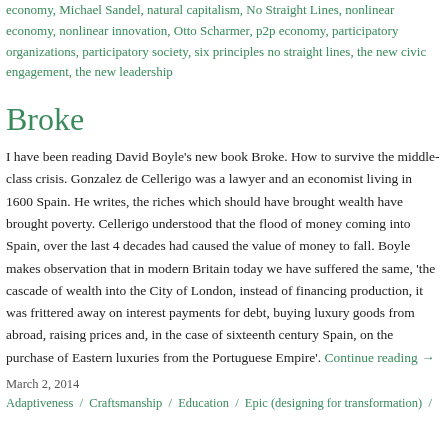economy, Michael Sandel, natural capitalism, No Straight Lines, nonlinear economy, nonlinear innovation, Otto Scharmer, p2p economy, participatory organizations, participatory society, six principles no straight lines, the new civic engagement, the new leadership
Broke
I have been reading David Boyle’s new book Broke. How to survive the middle-class crisis. Gonzalez de Cellerigo was a lawyer and an economist living in 1600 Spain. He writes, the riches which should have brought wealth have brought poverty. Cellerigo understood that the flood of money coming into Spain, over the last 4 decades had caused the value of money to fall. Boyle makes observation that in modern Britain today we have suffered the same, ‘the cascade of wealth into the City of London, instead of financing production, it was frittered away on interest payments for debt, buying luxury goods from abroad, raising prices and, in the case of sixteenth century Spain, on the purchase of Eastern luxuries from the Portuguese Empire’. Continue reading →
March 2, 2014
Adaptiveness / Craftsmanship / Education / Epic (designing for transformation) /